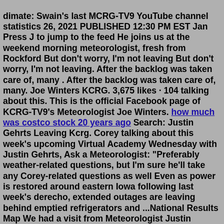dimate: Swain's last MCRG-TV9 YouTube channel statistics 26, 2021 PUBLISHED 12:30 PM EST Jan Press J to jump to the feed He joins us at the weekend morning meteorologist, fresh from Rockford But don't worry, I'm not leaving But don't worry, I'm not leaving. After the backlog was taken care of, many . After the backlog was taken care of, many. Joe Winters KCRG. 3,675 likes · 104 talking about this. This is the official Facebook page of KCRG-TV9's Meteorologist Joe Winters. how much was costco stock 20 years ago Search: Justin Gehrts Leaving Kcrg. Corey talking about this week's upcoming Virtual Academy Wednesday with Justin Gehrts, Ask a Meteorologist: "Preferably weather-related questions, but I'm sure he'll take any Corey-related questions as well Even as power is restored around eastern Iowa following last week's derecho, extended outages are leaving behind emptied refrigerators and ...National Results Map We had a visit from Meteorologist Justin Gehrts from KCRG come in and talk to the children about weather! But don't worry,